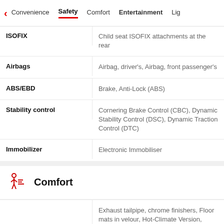Convenience | Safety | Comfort | Entertainment | Lig
| Feature | Description |
| --- | --- |
| ISOFIX | Child seat ISOFIX attachments at the rear |
| Airbags | Airbag, driver's, Airbag, front passenger's |
| ABS/EBD | Brake, Anti-Lock (ABS) |
| Stability control | Cornering Brake Control (CBC), Dynamic Stability Control (DSC), Dynamic Traction Control (DTC) |
| Immobilizer | Electronic Immobiliser |
Comfort
| Feature | Description |
| --- | --- |
|  | Exhaust tailpipe, chrome finishers, Floor mats in velour, Hot-Climate Version, Lights Package, On-Board computer including Check Control, Through-loading Feature, Armr front,folding including 12V sock BMW Individual high-gloss Shadow Line, Dual Tail Pipe, M |